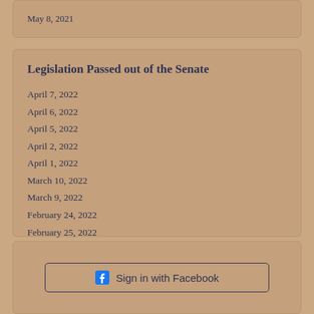May 8, 2021
Legislation Passed out of the Senate
April 7, 2022
April 6, 2022
April 5, 2022
April 2, 2022
April 1, 2022
March 10, 2022
March 9, 2022
February 24, 2022
February 25, 2022
February 23, 2022
Sign in with Facebook